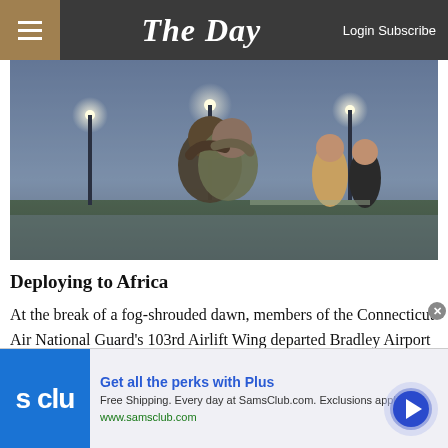The Day — Login Subscribe
[Figure (photo): Two people embracing in a foggy dawn at an airfield; two women stand in the background watching.]
Deploying to Africa
At the break of a fog-shrouded dawn, members of the Connecticut Air National Guard's 103rd Airlift Wing departed Bradley Airport Tuesday morning for up to six months in the Horn of Africa. The 103rd ...
[Figure (other): Advertisement: Sam's Club Plus — Get all the perks with Plus. Free Shipping. Every day at SamsClub.com. Exclusions apply. www.samsclub.com]